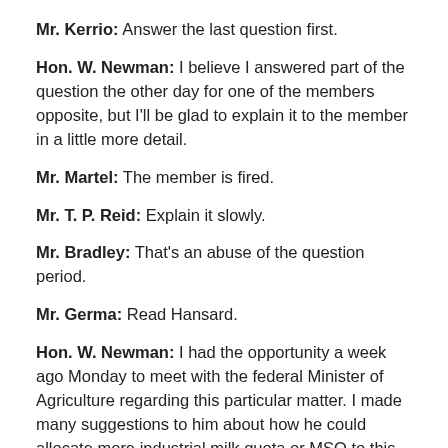Mr. Kerrio: Answer the last question first.
Hon. W. Newman: I believe I answered part of the question the other day for one of the members opposite, but I'll be glad to explain it to the member in a little more detail.
Mr. Martel: The member is fired.
Mr. T. P. Reid: Explain it slowly.
Mr. Bradley: That's an abuse of the question period.
Mr. Germa: Read Hansard.
Hon. W. Newman: I had the opportunity a week ago Monday to meet with the federal Minister of Agriculture regarding this particular matter. I made many suggestions to him about how he could allocate more industrial milk quota or MSQ to this province for the making of cheddar cheese, which we're short of now. We thought they were very constructive recommendations. One was that milk